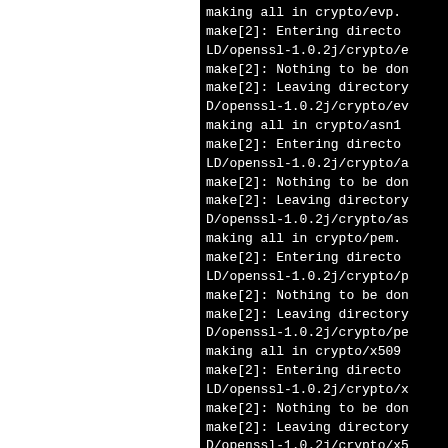[Figure (screenshot): Terminal/console output showing make build process for OpenSSL 1.0.2j crypto modules including evp, asn1, pem, and x509 directories. Text is white on black background, monospace font. Lines are partially cut off on the right side.]